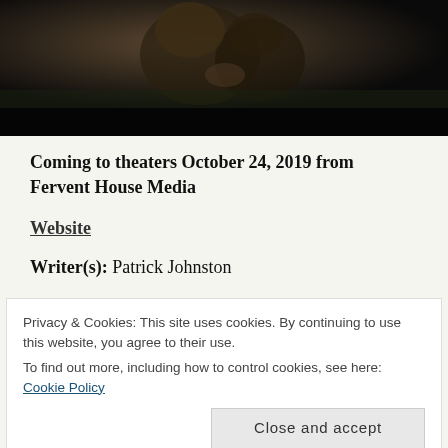[Figure (photo): Dark cinematic still showing figures in low light, outdoor scene with dark background]
Coming to theaters October 24, 2019 from Fervent House Media
Website
Writer(s): Patrick Johnston
Director(s): Paul Munger
Privacy & Cookies: This site uses cookies. By continuing to use this website, you agree to their use.
To find out more, including how to control cookies, see here: Cookie Policy
Close and accept
Jenn Gotzon, Julia Denton, Kevin Wayne, Ian Lauer, Blake Burt, Josh